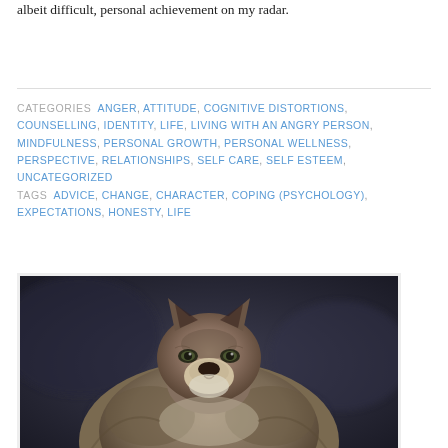albeit difficult, personal achievement on my radar.
CATEGORIES  ANGER, ATTITUDE, COGNITIVE DISTORTIONS, COUNSELLING, IDENTITY, LIFE, LIVING WITH AN ANGRY PERSON, MINDFULNESS, PERSONAL GROWTH, PERSONAL WELLNESS, PERSPECTIVE, RELATIONSHIPS, SELF CARE, SELF ESTEEM, UNCATEGORIZED
TAGS  ADVICE, CHANGE, CHARACTER, COPING (PSYCHOLOGY), EXPECTATIONS, HONESTY, LIFE
[Figure (photo): Close-up photograph of a grey wolf facing the camera directly, with dark blurred background, in a nature photography style.]